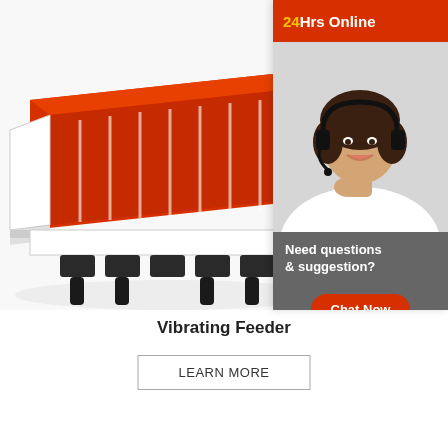[Figure (photo): Industrial vibrating feeder machine with red body, horizontal striped tray, black coil springs at base, and white frame/side panels.]
[Figure (infographic): Online chat support widget showing a woman with a headset, red '24Hrs Online' banner at top, grey box with 'Need questions & suggestion?' text, and red 'Chat Now' button.]
Vibrating Feeder
LEARN MORE